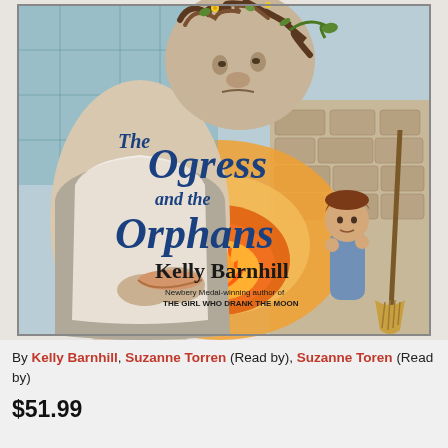[Figure (illustration): Book cover of 'The Ogress and the Orphans' by Kelly Barnhill. Shows a large ogress figure looming over a small child near a fire, with a broom leaning against a stone wall. Title text in blue script reads 'The Ogress and the Orphans'. Author name 'Kelly Barnhill' in large serif text, with subtitle 'Newbery Medal-winning author of THE GIRL WHO DRANK THE MOON'.]
By Kelly Barnhill, Suzanne Torren (Read by), Suzanne Toren (Read by)
$51.99